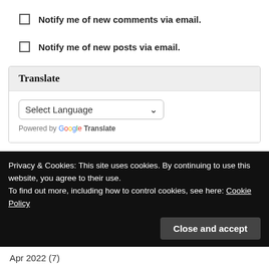Notify me of new comments via email.
Notify me of new posts via email.
Translate
Select Language ▾
Powered by Google Translate
Blogs by month
Aug 2022 (2)
Privacy & Cookies: This site uses cookies. By continuing to use this website, you agree to their use.
To find out more, including how to control cookies, see here: Cookie Policy
Close and accept
Apr 2022 (7)